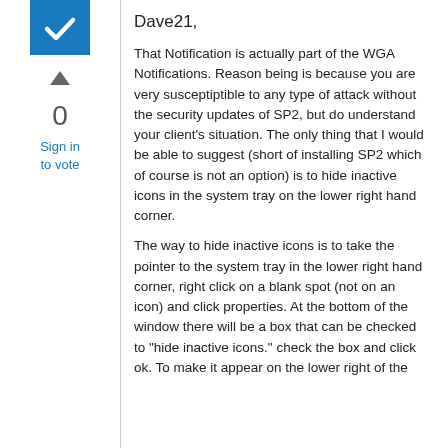[Figure (other): Blue checkbox icon with white checkmark]
[Figure (other): Upward-pointing triangle/arrow icon for voting]
0
Sign in to vote
Dave21,
That Notification is actually part of the WGA Notifications. Reason being is because you are very susceptible to any type of attack without the security updates of SP2, but do understand your client's situation. The only thing that I would be able to suggest (short of installing SP2 which of course is not an option) is to hide inactive icons in the system tray on the lower right hand corner.
The way to hide inactive icons is to take the pointer to the system tray in the lower right hand corner, right click on a blank spot (not on an icon) and click properties. At the bottom of the window there will be a box that can be checked to "hide inactive icons." check the box and click ok. To make it appear on the lower right of the